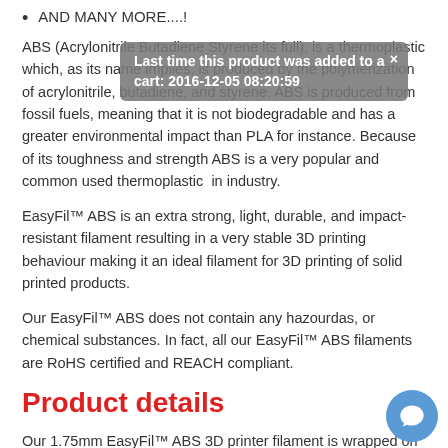AND MANY MORE....!
ABS (Acrylonitrile Butadiene Styrene its full), is a thermoplastic which, as its name implies, is produced by the polymerization of acrylonitrile, butadiene, and styrene. ABS is produced from fossil fuels, meaning that it is not biodegradable and has a greater environmental impact than PLA for instance. Because of its toughness and strength ABS is a very popular and common used thermoplastic in industry.
EasyFil™ ABS is an extra strong, light, durable, and impact-resistant filament resulting in a very stable 3D printing behaviour making it an ideal filament for 3D printing of solid printed products.
Our EasyFil™ ABS does not contain any hazourdas, or chemical substances. In fact, all our EasyFil™ ABS filaments are RoHS certified and REACH compliant.
Product details
Our 1.75mm EasyFil™ ABS 3D printer filament is wrapped on a plastic spool which contains approximately 0.75Kg of filament. Our spool-wrapped EasyFil™ ABS filaments are packed in a silica sealed bag and come in a full colour printed cardboard box which in turn is also sealed in plastic.